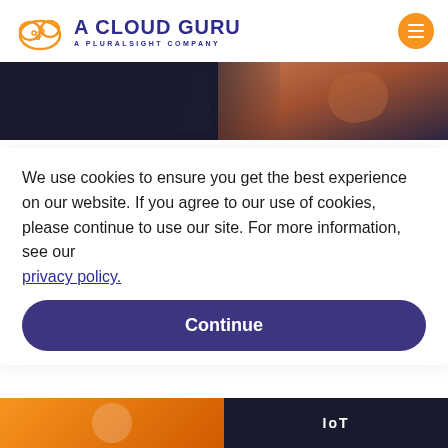A CLOUD GURU — A PLURALSIGHT COMPANY
[Figure (photo): Hero banner with dark background and partial view of a person with arms crossed, wearing dark t-shirt]
Using Azure Speech AI for game development
Felix Groes joins us today for all the Azure announcements this week! First up, some exciting news for gaming with a new Azure Cognitive Services...
Aug 17, 2022
We use cookies to ensure you get the best experience on our website. If you agree to our use of cookies, please continue to use our site. For more information, see our privacy policy.
Continue
[Figure (photo): Bottom strip with two partial thumbnail images]